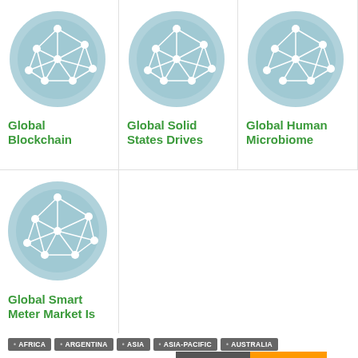[Figure (illustration): Network graph icon on teal circle background - Global Blockchain card]
Global Blockchain
[Figure (illustration): Network graph icon on teal circle background - Global Solid States Drives card]
Global Solid States Drives
[Figure (illustration): Network graph icon on teal circle background - Global Human Microbiome card]
Global Human Microbiome
[Figure (illustration): Network graph icon on teal circle background - Global Smart Meter Market Is card]
Global Smart Meter Market Is
AFRICA
ARGENTINA
ASIA
ASIA-PACIFIC
AUSTRALIA
BRAZIL
CANADA
CHINA
NG
Feedback
Translate »